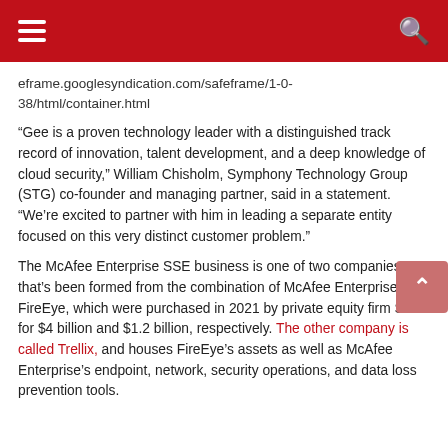eframe.googlesyndication.com/safeframe/1-0-38/html/container.html
“Gee is a proven technology leader with a distinguished track record of innovation, talent development, and a deep knowledge of cloud security,” William Chisholm, Symphony Technology Group (STG) co-founder and managing partner, said in a statement. “We’re excited to partner with him in leading a separate entity focused on this very distinct customer problem.”
The McAfee Enterprise SSE business is one of two companies that’s been formed from the combination of McAfee Enterprise and FireEye, which were purchased in 2021 by private equity firm STG for $4 billion and $1.2 billion, respectively. The other company is called Trellix, and houses FireEye’s assets as well as McAfee Enterprise’s endpoint, network, security operations, and data loss prevention tools.